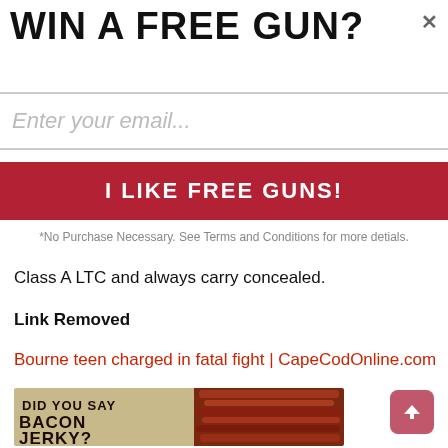WIN A FREE GUN?
Enter your email...
I LIKE FREE GUNS!
*No Purchase Necessary. See Terms and Conditions for more detials.
Class A LTC and always carry concealed.
Link Removed
Bourne teen charged in fatal fight | CapeCodOnline.com
[Figure (photo): Advertisement image with text 'DID YOU SAY BACON JERKY?' overlaid on a photo of bacon jerky strips]